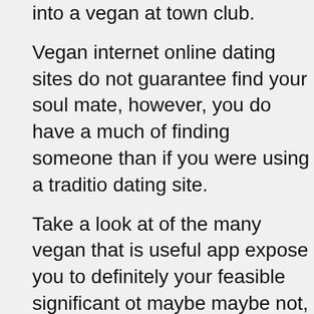into a vegan at town club.
Vegan internet online dating sites do not guarantee find your soul mate, however, you do have a much of finding someone than if you were using a traditional dating site.
Take a look at of the many vegan that is useful app expose you to definitely your feasible significant other maybe maybe not, maybe youвЂ™ll make some b way!
Vegan Dating Canada вЂ“ This is a free relati assits you to mature buddy finder communicat compassionate single individuals. It's not simp dating вЂ“ you may be really hunting for you t relax with, you can find a large number of solit